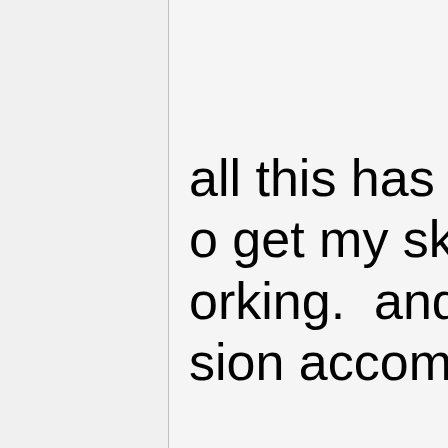all this has f o get my sky orking.  and sion accomp